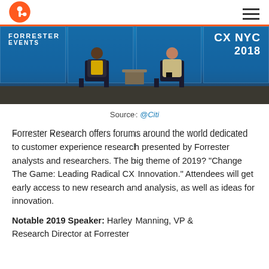HubSpot logo | Hamburger menu
[Figure (photo): Forrester Events CX NYC 2018 conference photo showing two people seated on stage in front of a blue branded backdrop]
Source: @Citi
Forrester Research offers forums around the world dedicated to customer experience research presented by Forrester analysts and researchers. The big theme of 2019? "Change The Game: Leading Radical CX Innovation." Attendees will get early access to new research and analysis, as well as ideas for innovation.
Notable 2019 Speaker: Harley Manning, VP & Research Director at Forrester